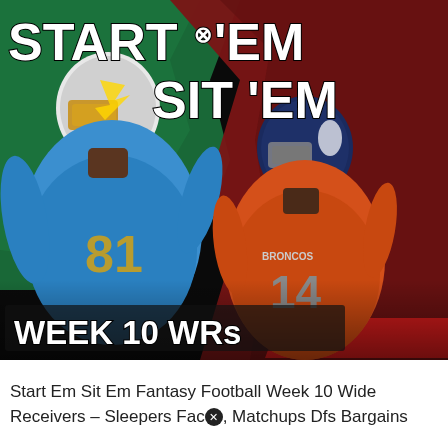[Figure (illustration): Sports graphic showing two NFL players - one in LA Chargers #81 blue jersey and one in Denver Broncos #14 orange jersey - against a dark background with green and red brush stroke accents. Large text reads 'START 'EM SIT 'EM' at the top and 'WEEK 10 WRs' at the bottom.]
Start Em Sit Em Fantasy Football Week 10 Wide Receivers – Sleepers Fac⊗, Matchups Dfs Bargains